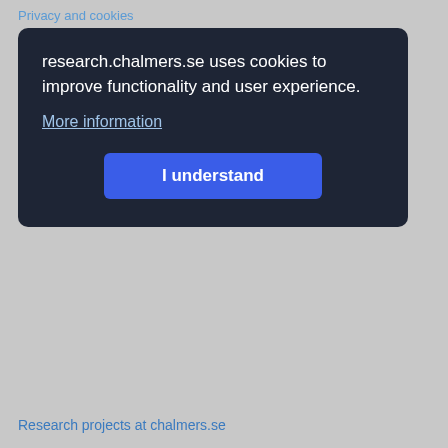Privacy and cookies
research.chalmers.se uses cookies to improve functionality and user experience.
More information
I understand
Research projects at chalmers.se
Chalmers University of Technology
SE-412 96 GOTHENBURG, SWEDEN
PHONE: +46 (0)31-772 10 00
WWW.CHALMERS.SE